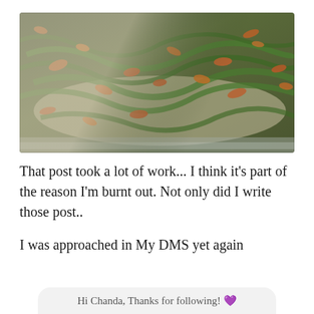[Figure (photo): Close-up photo of a baking dish containing green bean casserole topped with crispy fried onions and bacon bits, cooked in a creamy sauce.]
That post took a lot of work... I think it's part of the reason I'm burnt out. Not only did I write those post..

I was approached in My DMS yet again
Hi Chanda, Thanks for following! 💜